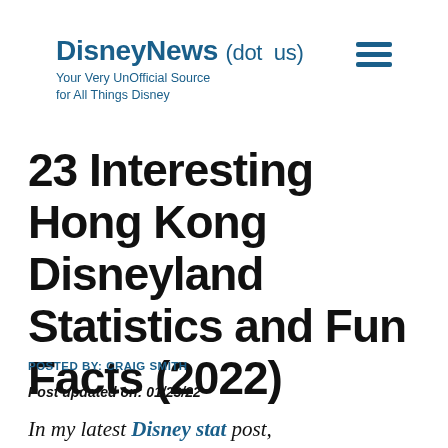DisneyNews (dot us) — Your Very UnOfficial Source for All Things Disney
23 Interesting Hong Kong Disneyland Statistics and Fun Facts (2022)
POSTED BY: CRAIG SMITH
Post updated on: 01/23/22
In my latest Disney stat post,